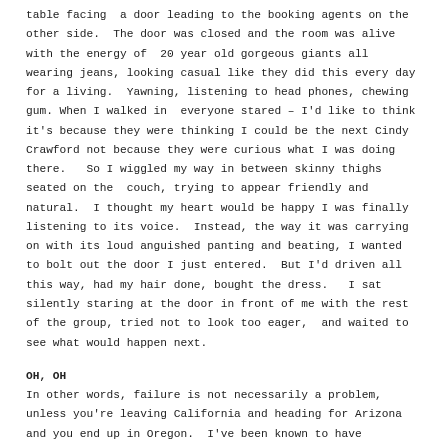table facing  a door leading to the booking agents on the other side.  The door was closed and the room was alive with the energy of  20 year old gorgeous giants all wearing jeans, looking casual like they did this every day for a living.  Yawning, listening to head phones, chewing gum. When I walked in  everyone stared – I'd like to think it's because they were thinking I could be the next Cindy Crawford not because they were curious what I was doing there.   So I wiggled my way in between skinny thighs seated on the  couch, trying to appear friendly and natural.  I thought my heart would be happy I was finally listening to its voice.  Instead, the way it was carrying on with its loud anguished panting and beating, I wanted to bolt out the door I just entered.  But I'd driven all this way, had my hair done, bought the dress.   I sat silently staring at the door in front of me with the rest of the group, tried not to look too eager,  and waited to see what would happen next.
OH, OH
In other words, failure is not necessarily a problem, unless you're leaving California and heading for Arizona and you end up in Oregon.  I've been known to have direction dyslexia where I make a left turn when I needed to turn right.   It usually means a lack of planning, or I'm busy and distracted from doing more than one thing at a time.   But I hadn't gotten here by